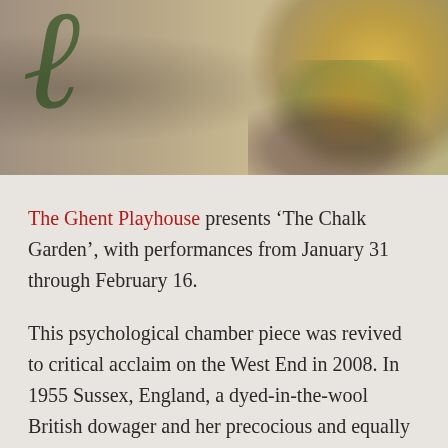[Figure (photo): Decorative image showing dried or wilted roses with warm golden and green tones against a textured background, with a decorative cursive letter visible on the left side.]
The Ghent Playhouse presents 'The Chalk Garden', with performances from January 31 through February 16.
This psychological chamber piece was revived to critical acclaim on the West End in 2008. In 1955 Sussex, England, a dyed-in-the-wool British dowager and her precocious and equally eccentric granddaughter are about to meet their match in Miss Madrigal, the